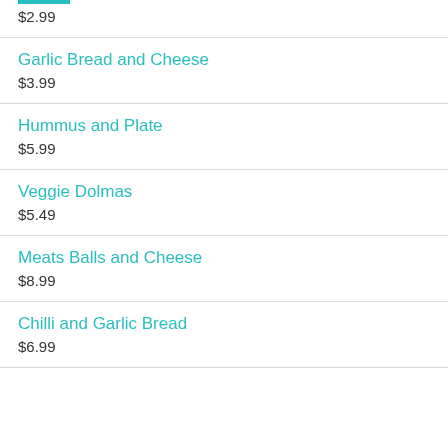$2.99
Garlic Bread and Cheese
$3.99
Hummus and Plate
$5.99
Veggie Dolmas
$5.49
Meats Balls and Cheese
$8.99
Chilli and Garlic Bread
$6.99